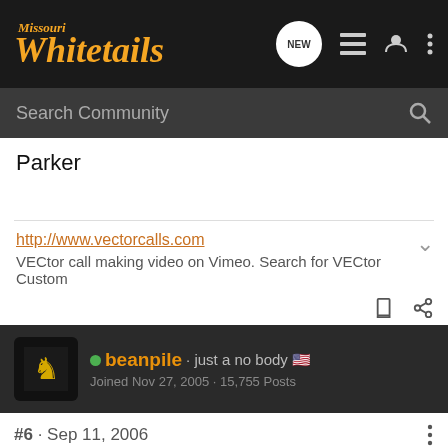Missouri Whitetails
Search Community
Parker
http://www.vectorcalls.com
VECtor call making video on Vimeo. Search for VECtor Custom
beanpile · just a no body 🇺🇸
Joined Nov 27, 2005 · 15,755 Posts
#6 · Sep 11, 2006
Its kinda ame become
[Figure (screenshot): Cabela's Highest-Rated Gear advertisement banner with star rating 4.9]